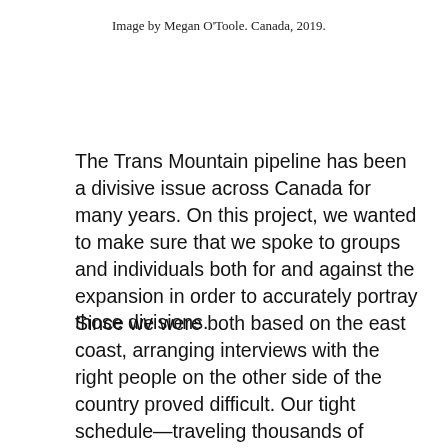Image by Megan O'Toole. Canada, 2019.
The Trans Mountain pipeline has been a divisive issue across Canada for many years. On this project, we wanted to make sure that we spoke to groups and individuals both for and against the expansion in order to accurately portray those divisions.
Since we were both based on the east coast, arranging interviews with the right people on the other side of the country proved difficult. Our tight schedule—traveling thousands of kilometres in just under two weeks—also gave us very little wiggle room should any interviews fall through,